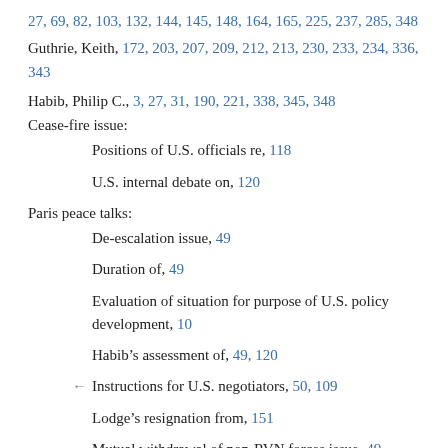27, 69, 82, 103, 132, 144, 145, 148, 164, 165, 225, 237, 285, 348
Guthrie, Keith, 172, 203, 207, 209, 212, 213, 230, 233, 234, 336, 343
Habib, Philip C., 3, 27, 31, 190, 221, 338, 345, 348
Cease-fire issue:
Positions of U.S. officials re, 118
U.S. internal debate on, 120
Paris peace talks:
De-escalation issue, 49
Duration of, 49
Evaluation of situation for purpose of U.S. policy development, 10
Habib's assessment of, 49, 120
Instructions for U.S. negotiators, 50, 109
Lodge's resignation from, 151
Mutual withdrawal of non-RVN forces issue, 49
Plenary sessions, 49
Political settlement issue, 108